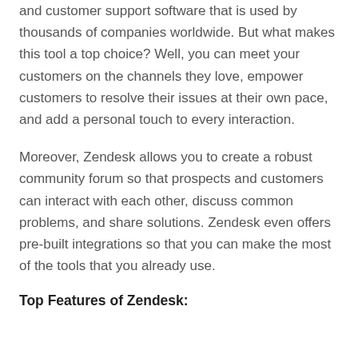and customer support software that is used by thousands of companies worldwide. But what makes this tool a top choice? Well, you can meet your customers on the channels they love, empower customers to resolve their issues at their own pace, and add a personal touch to every interaction.
Moreover, Zendesk allows you to create a robust community forum so that prospects and customers can interact with each other, discuss common problems, and share solutions. Zendesk even offers pre-built integrations so that you can make the most of the tools that you already use.
Top Features of Zendesk: